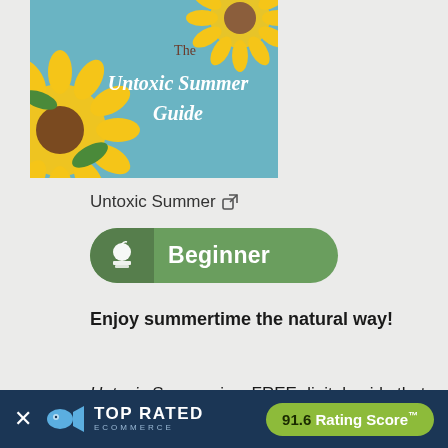[Figure (illustration): Book cover for 'The Untoxic Summer Guide' with sunflowers on a teal background]
Untoxic Summer ↗
[Figure (infographic): Green rounded button with apple/books icon on left and 'Beginner' text in white bold]
Enjoy summertime the natural way!
Untoxic Summer is a FREE digital guide that covers the risks of
[Figure (infographic): Dark blue banner at bottom with X close button, Top Rated Ecommerce badge with fish-trophy logo, and 91.6 Rating Score™ in green pill]